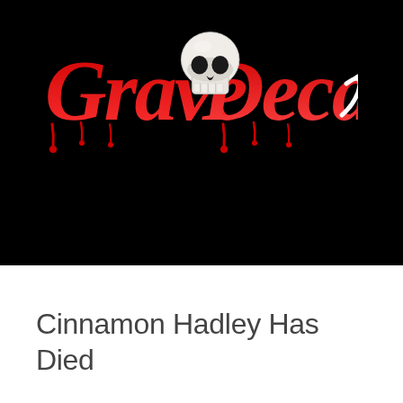[Figure (logo): Grave Decay logo: red horror-style text 'Grave' and 'Decay' with a white skull illustration in the center, on a black background]
Cinnamon Hadley Has Died